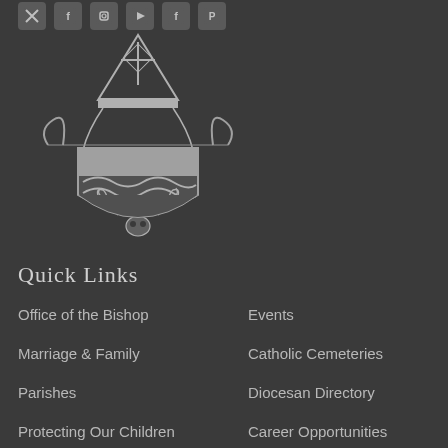[Figure (logo): Row of social media icons (Twitter/X, Facebook, Instagram, YouTube, Facebook, Pinterest) as small square icon boxes at the top]
[Figure (illustration): Catholic diocesan coat of arms / crest in grey and white tones. Features a bishop's mitre at top with decorative cross and architectural elements, flanked by scrollwork and ribbons, shield below with chevron waves and a deer skull with antlers and cross motif.]
Quick Links
Office of the Bishop
Events
Marriage & Family
Catholic Cemeteries
Parishes
Diocesan Directory
Protecting Our Children
Career Opportunities
Catholic Charities (partial)
... (partial, cut off)